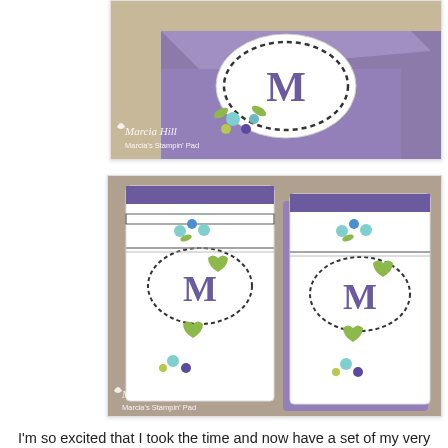[Figure (photo): Photo of a purple gift box with a monogram 'M' label decorated with flowers, black and white wreath design. Watermark: Marcia Hill / Marcia's Stampin' Pad.]
[Figure (photo): Photo of two handmade monogrammed notecards with 'M' monogram, floral and leaf decorations in teal, green and purple, black and white striped pattern, twine wrapping. Watermark: Marcia Hill / Marcia's Stampin' Pad.]
I'm so excited that I took the time and now have a set of my very own monogrammed notecards!  Was it a lot of work?  Yes, but it actually ended up being a labor of love so to